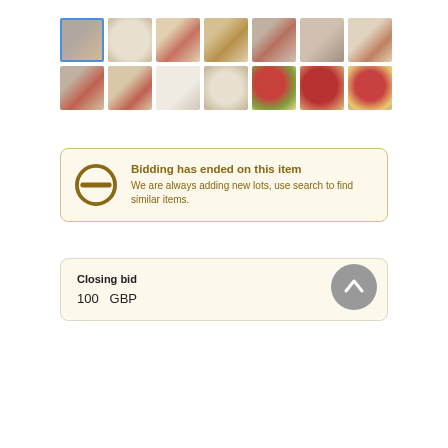[Figure (photo): Grid of 14 thumbnail images showing ceramic/porcelain tableware with floral rose patterns (Royal Albert Old Country Roses style). Row 1 has 7 thumbnails, first one selected with blue border. Row 2 has 7 thumbnails.]
Bidding has ended on this item
We are always adding new lots, use search to find similar items.
Closing bid
100   GBP